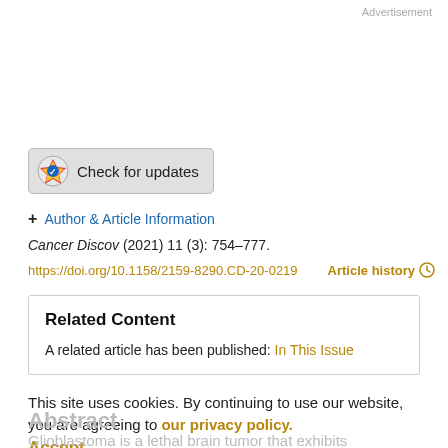Advertisement
[Figure (other): Check for updates badge button with CrossMark logo]
+ Author & Article Information
Cancer Discov (2021) 11 (3): 754–777.
https://doi.org/10.1158/2159-8290.CD-20-0219   Article history ⊙
Related Content
A related article has been published: In This Issue
This site uses cookies. By continuing to use our website, you are agreeing to our privacy policy.
Accept
Abstract
Glioblastoma is a lethal brain tumor that exhibits